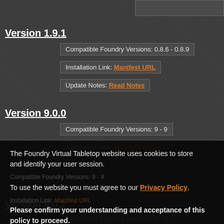Version 1.9.1
Compatible Foundry Versions: 0.8.6 - 0.8.9
Installation Link: Manifest URL
Update Notes: Read Notes
Version 9.0.0
Compatible Foundry Versions: 9 - 9
Installation Link: Manifest URL
Update Notes: Read Notes
The Foundry Virtual Tabletop website uses cookies to store and identify your user session.
To use the website you must agree to our Privacy Policy.
Please confirm your understanding and acceptance of this policy to proceed.
✓ I Accept
✗ I Do Not Accept
Version 9.0.2
Compatible Foundry Versions: 9 - 9